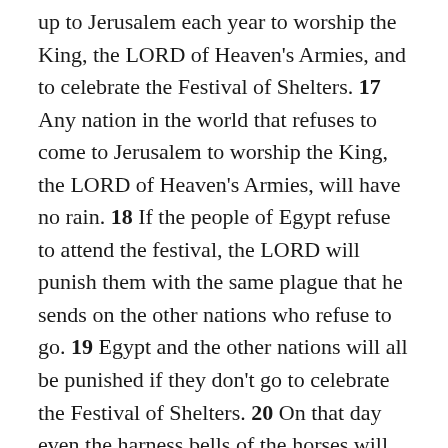up to Jerusalem each year to worship the King, the LORD of Heaven's Armies, and to celebrate the Festival of Shelters. 17 Any nation in the world that refuses to come to Jerusalem to worship the King, the LORD of Heaven's Armies, will have no rain. 18 If the people of Egypt refuse to attend the festival, the LORD will punish them with the same plague that he sends on the other nations who refuse to go. 19 Egypt and the other nations will all be punished if they don't go to celebrate the Festival of Shelters. 20 On that day even the harness bells of the horses will be inscribed with these words: HOLY TO THE LORD . And the cooking pots in the Temple of the LORD will be as sacred as the basins used beside the altar. 21 In fact, every cooking pot in Jerusalem and Judah will be holy to the LORD of Heaven's Armies. All who come to worship will be free to use any of these pots to boil their sacrifi...